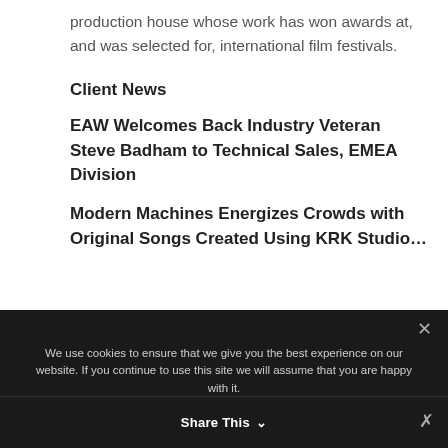production house whose work has won awards at, and was selected for, international film festivals.
Client News
EAW Welcomes Back Industry Veteran Steve Badham to Technical Sales, EMEA Division
Modern Machines Energizes Crowds with Original Songs Created Using KRK Studio…
We use cookies to ensure that we give you the best experience on our website. If you continue to use this site we will assume that you are happy with it.
Ok   Privacy policy
Share This